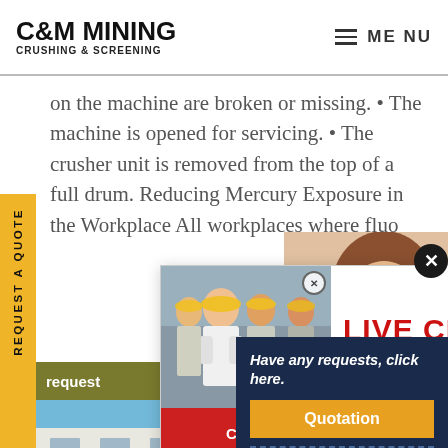C&M MINING CRUSHING & SCREENING | MENU
on the machine are broken or missing. • The machine is opened for servicing. • The crusher unit is removed from the top of a full drum. Reducing Mercury Exposure in the Workplace All workplaces where fluo... request
[Figure (photo): Live chat popup with workers wearing yellow hard hats on left, LIVE CHAT text in red, Click for a Free Consultation subtitle, Chat now (red) and Chat later (dark) buttons]
[Figure (photo): Customer service representative with headset on right side]
[Figure (photo): Industrial machinery/pipes photograph at bottom of page]
Have any requests, click here.
Quotation